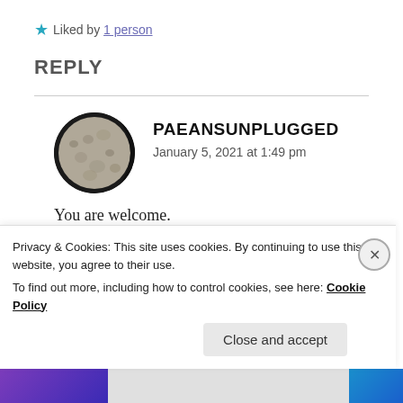★ Liked by 1 person
REPLY
PAEANSUNPLUGGED
January 5, 2021 at 1:49 pm
You are welcome.
★ Liked by 1 person
Privacy & Cookies: This site uses cookies. By continuing to use this website, you agree to their use.
To find out more, including how to control cookies, see here: Cookie Policy
Close and accept